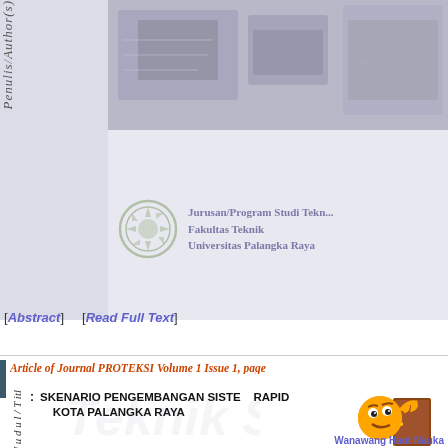Penulis/Author(s)
Jurusan/Program Studi Teknik, Fakultas Teknik, Universitas Palangka Raya
[Figure (logo): Universitas Palangka Raya institutional logo]
[Abstract]    [Read Full Text]
Article of Journal PROTEKSI Volume 1 Issue 1, page
J u d u l / T itl : SKENARIO PENGEMBANGAN SISTEM RAPID KOTA PALANGKA RAYA
Wanawang Haut Nauka